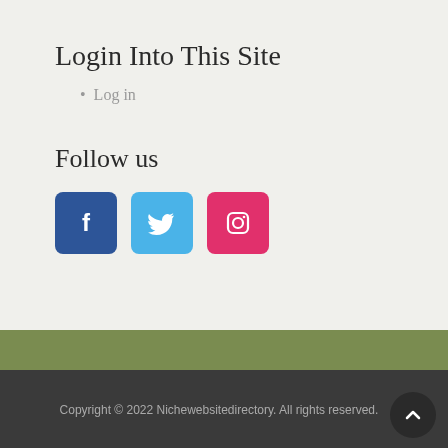Login Into This Site
Log in
Follow us
[Figure (infographic): Three social media icon buttons: Facebook (dark blue), Twitter (light blue), Instagram (pink/red)]
Copyright © 2022 Nichewebsitedirectory. All rights reserved.